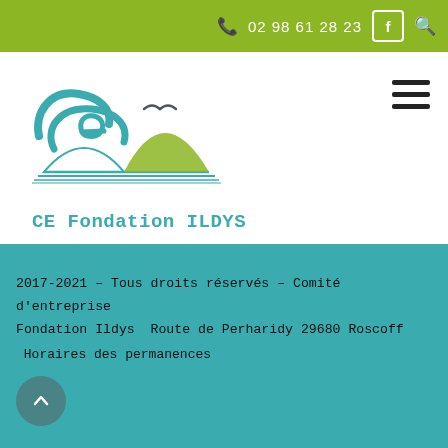02 98 61 28 23
[Figure (logo): CE Fondation ILDYS logo with teal waves, open book, green sail, and seagull]
CE Fondation ILDYS
2017-2021 - Tous droits réservés - Comité d'entreprise Fondation Ildys  Route de Perharidy 29680 Roscoff
Horaires des permanences